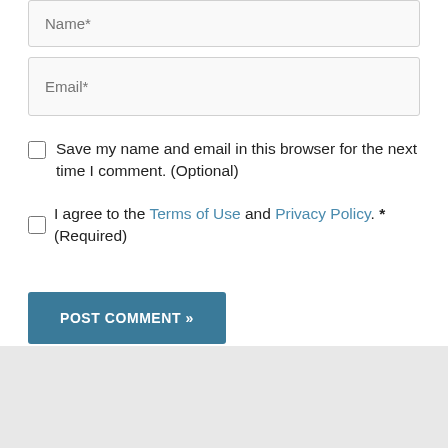Name*
Email*
Save my name and email in this browser for the next time I comment. (Optional)
I agree to the Terms of Use and Privacy Policy. * (Required)
POST COMMENT »